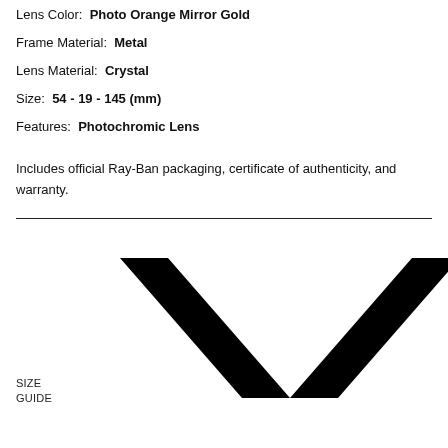Lens Color:  Photo Orange Mirror Gold
Frame Material:  Metal
Lens Material:  Crystal
Size:  54 - 19 - 145 (mm)
Features:  Photochromic Lens
Includes official Ray-Ban packaging, certificate of authenticity, and warranty.
[Figure (illustration): Large black checkmark / chevron V-shape icon, SIZE GUIDE label at bottom left]
SIZE
GUIDE